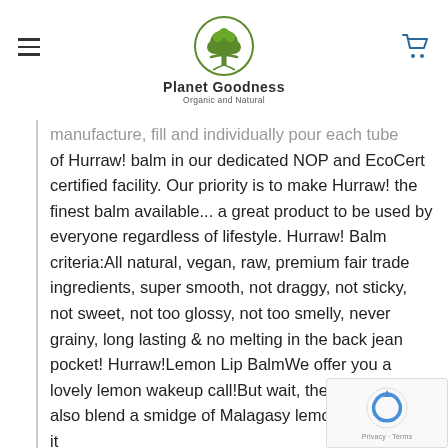Planet Goodness — Organic and Natural
manufacture, fill and individually pour each tube of Hurraw! balm in our dedicated NOP and EcoCert certified facility. Our priority is to make Hurraw! the finest balm available... a great product to be used by everyone regardless of lifestyle. Hurraw! Balm criteria:All natural, vegan, raw, premium fair trade ingredients, super smooth, not draggy, not sticky, not sweet, not too glossy, not too smelly, never grainy, long lasting & no melting in the back jean pocket! Hurraw!Lemon Lip BalmWe offer you a lovely lemon wakeup call!But wait, there's more! We also blend a smidge of Malagasy lemongrass to give it
Hurraw! Balm criteria:All natural, vegan, raw, premium fair trade ingredients, super smooth, not